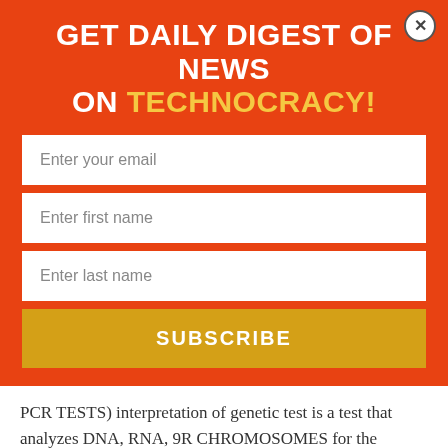GET DAILY DIGEST OF NEWS ON TECHNOCRACY!
[Figure (infographic): Newsletter signup form with fields for email, first name, last name, and a subscribe button on orange background]
PCR TESTS) interpretation of genetic test is a test that analyzes DNA, RNA, 9R CHROMOSOMES for the purposes such as the prediction, of disease, or vertical transmission risks, or monitoring or diagnosis or prognosis..... IT IS PROHIBITED for any person to require an individual to undergo a genetic test as a